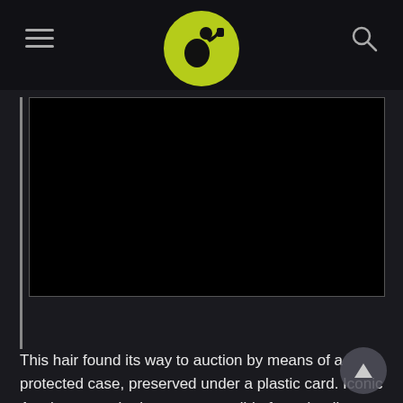[Figure (screenshot): Black video player embed with no visible content]
This hair found its way to auction by means of a protected case, preserved under a plastic card. Iconic Auctions was the house responsible for unloading this famous DNA. We can only hope that whoever bought the hair plans to clone a